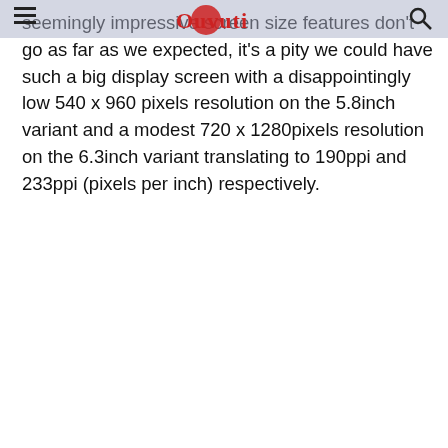Ouvuti
seemingly impressive screen size features don't go as far as we expected, it's a pity we could have such a big display screen with a disappointingly low 540 x 960 pixels resolution on the 5.8inch variant and a modest 720 x 1280pixels resolution on the 6.3inch variant translating to 190ppi and 233ppi (pixels per inch) respectively.